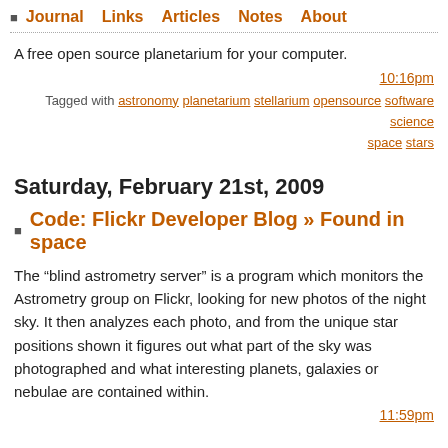Journal  Links  Articles  Notes  About
A free open source planetarium for your computer.
10:16pm
Tagged with astronomy planetarium stellarium opensource software science space stars
Saturday, February 21st, 2009
Code: Flickr Developer Blog » Found in space
The “blind astrometry server” is a program which monitors the Astrometry group on Flickr, looking for new photos of the night sky. It then analyzes each photo, and from the unique star positions shown it figures out what part of the sky was photographed and what interesting planets, galaxies or nebulae are contained within.
11:59pm